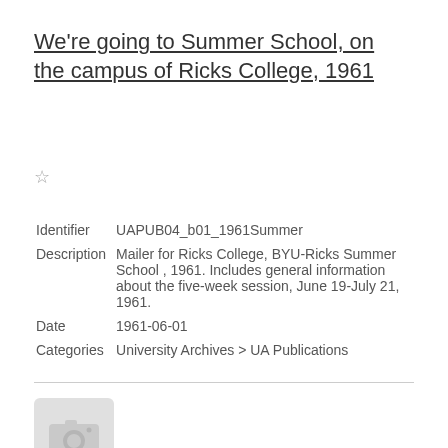We're going to Summer School, on the campus of Ricks College, 1961
Identifier   UAPUB04_b01_1961Summer
Description   Mailer for Ricks College, BYU-Ricks Summer School , 1961. Includes general information about the five-week session, June 19-July 21, 1961.
Date   1961-06-01
Categories   University Archives > UA Publications
[Figure (photo): Placeholder camera/photo icon in light grey box]